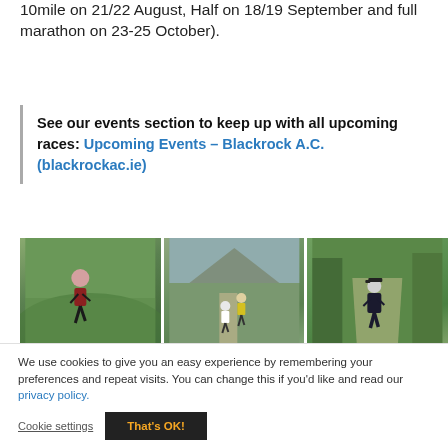10mile on 21/22 August, Half on 18/19 September and full marathon on 23-25 October).
See our events section to keep up with all upcoming races: Upcoming Events – Blackrock A.C. (blackrockac.ie)
[Figure (photo): Three photos of runners in outdoor trail/road running settings: a man in a red vest on a hillside trail, two runners on a mountain path, and a man in black running gear on a tree-lined path.]
We use cookies to give you an easy experience by remembering your preferences and repeat visits. You can change this if you'd like and read our privacy policy.
Cookie settings   That's OK!